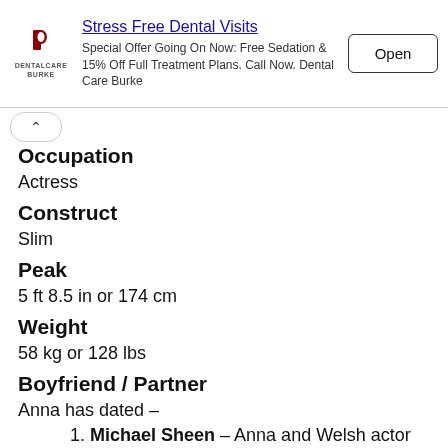[Figure (other): Dental Care Burke advertisement banner with logo, 'Stress Free Dental Visits' heading, offer text, and Open button]
Occupation
Actress
Construct
Slim
Peak
5 ft 8.5 in or 174 cm
Weight
58 kg or 128 lbs
Boyfriend / Partner
Anna has dated –
1. Michael Sheen – Anna and Welsh actor